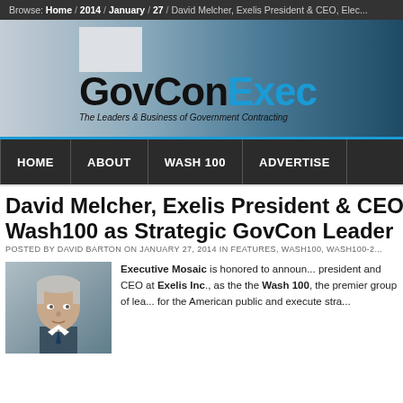Browse: Home / 2014 / January / 27 / David Melcher, Exelis President & CEO, Elec...
[Figure (logo): GovConExec logo with tagline 'The Leaders & Business of Government Contracting' on a city skyline background]
HOME | ABOUT | WASH 100 | ADVERTISE
David Melcher, Exelis President & CEO, Elected to Wash100 as Strategic GovCon Leader
POSTED BY DAVID BARTON ON JANUARY 27, 2014 IN FEATURES, WASH100, WASH100-2...
[Figure (photo): Headshot of David Melcher, gray-haired man in suit]
Executive Mosaic is honored to announce president and CEO at Exelis Inc., as the the Wash 100, the premier group of lea... for the American public and execute stra...